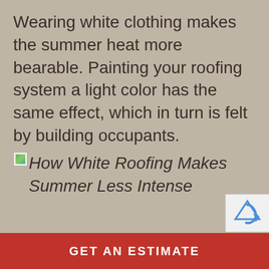Wearing white clothing makes the summer heat more bearable. Painting your roofing system a light color has the same effect, which in turn is felt by building occupants.
[Figure (illustration): Small broken image icon placeholder followed by caption text: How White Roofing Makes Summer Less Intense]
How White Roofing Makes Summer Less Intense
[Figure (logo): reCAPTCHA badge in lower right corner]
GET AN ESTIMATE